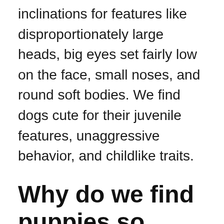inclinations for features like disproportionately large heads, big eyes set fairly low on the face, small noses, and round soft bodies. We find dogs cute for their juvenile features, unaggressive behavior, and childlike traits.
Why do we find puppies so cute?
The reason we find puppies cute is that we're using criteria that have